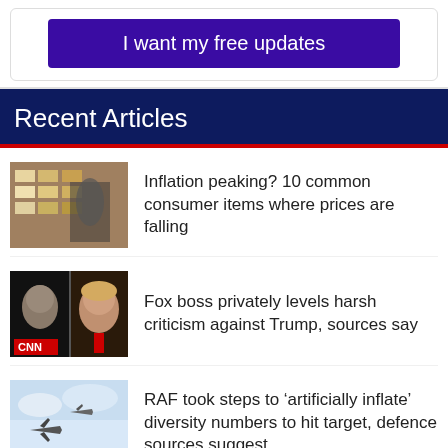I want my free updates
Recent Articles
Inflation peaking? 10 common consumer items where prices are falling
Fox boss privately levels harsh criticism against Trump, sources say
RAF took steps to ‘artificially inflate’ diversity numbers to hit target, defence sources suggest